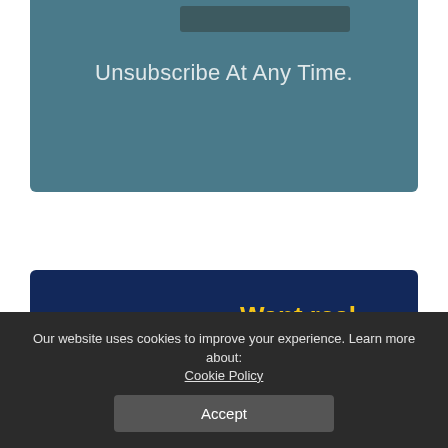Unsubscribe At Any Time.
[Figure (illustration): MyConstant advertisement banner showing a cartoon man with red hair holding a wallet with a money plant growing out of it, on a dark blue background. Text reads 'Want real growth on your money?' with the MyConstant logo.]
Our website uses cookies to improve your experience. Learn more about:
Cookie Policy
Accept